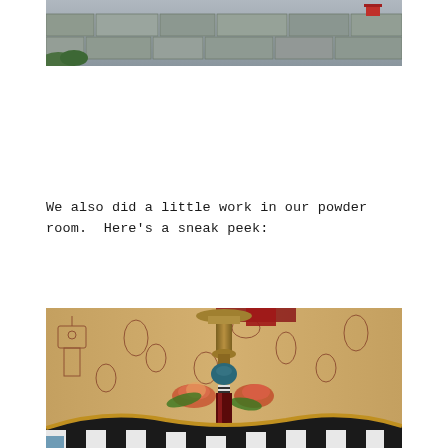[Figure (photo): Partial view of a stone wall exterior with greenery and a small red object visible in the upper right]
We also did a little work in our powder room.  Here's a sneak peek:
[Figure (photo): Interior powder room photo showing decorative toile wallpaper with birdhouse motif, an ornate candlestick with colorful floral decoration, and a black and white checkered chair or furniture piece in the foreground]